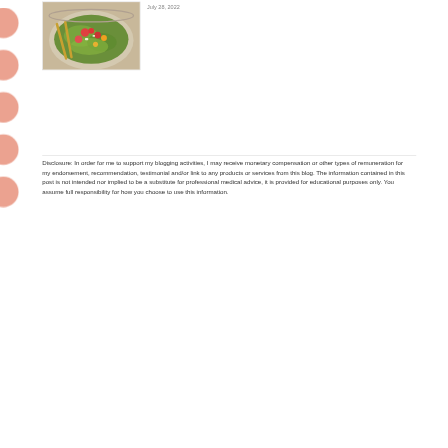[Figure (photo): Food photo showing a colorful salad with greens, tomatoes, and other vegetables in a bowl, with golden utensils visible]
July 28, 2022
Disclosure: In order for me to support my blogging activities, I may receive monetary compensation or other types of remuneration for my endorsement, recommendation, testimonial and/or link to any products or services from this blog. The information contained in this post is not intended nor implied to be a substitute for professional medical advice, it is provided for educational purposes only. You assume full responsibility for how you choose to use this information.